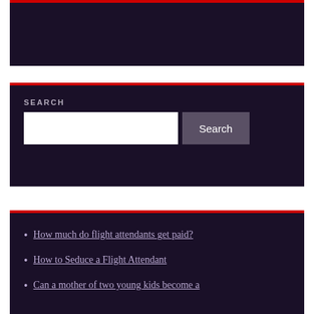[Figure (screenshot): Dark purple panel with red top border, empty content area (logo/header area)]
SEARCH
[Figure (screenshot): Dark purple panel with red top border containing a search box with text input and Search button]
How much do flight attendants get paid?
How to Seduce a Flight Attendant
Can a mother of two young kids become a